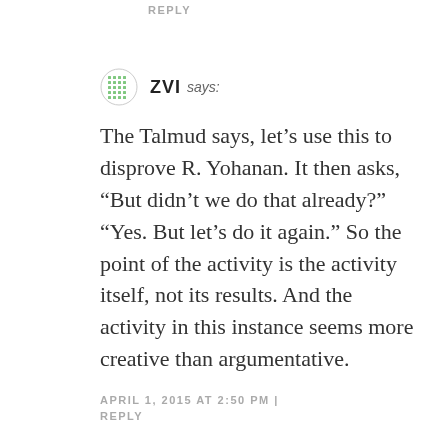REPLY
ZVI says:
The Talmud says, let’s use this to disprove R. Yohanan. It then asks, “But didn’t we do that already?” “Yes. But let’s do it again.” So the point of the activity is the activity itself, not its results. And the activity in this instance seems more creative than argumentative.
APRIL 1, 2015 AT 2:50 PM | REPLY